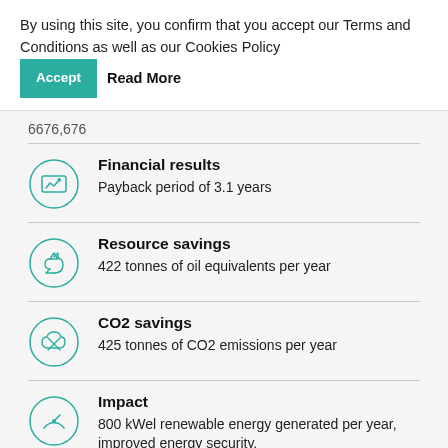By using this site, you confirm that you accept our Terms and Conditions as well as our Cookies Policy  [Accept]  Read More
6676,676
Financial results
Payback period of 3.1 years
Resource savings
422 tonnes of oil equivalents per year
CO2 savings
425 tonnes of CO2 emissions per year
Impact
800 kWel renewable energy generated per year, improved energy security.